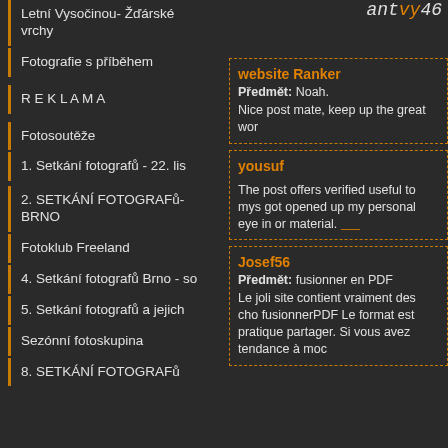antvy46
Letní Vysočinou- Žďárské vrchy
Fotografie s příběhem
R E K L A M A
Fotosoutěže
1. Setkání fotografů - 22. lis
2. SETKÁNÍ FOTOGRAFů-BRNO
Fotoklub Freeland
4. Setkání fotografů Brno - so
5. Setkání fotografů a jejich
Sezónní fotoskupina
8. SETKÁNÍ FOTOGRAFů
website Ranker
Předmět: Noah.
Nice post mate, keep up the great wor
yousuf
The post offers verified useful to mys got opened up my personal eye in or material.
Josef56
Předmět: fusionner en PDF
Le joli site contient vraiment des cho fusionnerPDF Le format est pratique partager. Si vous avez tendance à moc